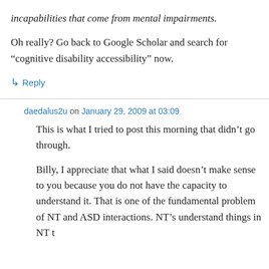incapabilities that come from mental impairments.
Oh really? Go back to Google Scholar and search for “cognitive disability accessibility” now.
↳ Reply
daedalus2u on January 29, 2009 at 03:09
This is what I tried to post this morning that didn’t go through.
Billy, I appreciate that what I said doesn’t make sense to you because you do not have the capacity to understand it. That is one of the fundamental problem of NT and ASD interactions. NT’s understand things in NT t…